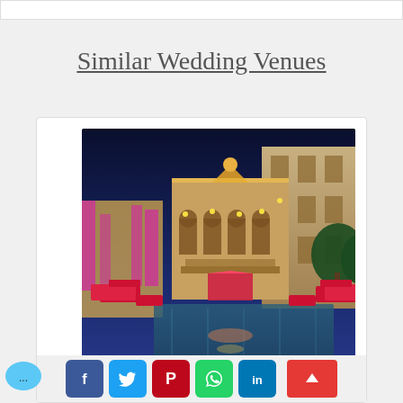Similar Wedding Venues
[Figure (photo): Night-time photo of an ornate Indian wedding venue with illuminated palace-style architecture, a reflective pool, red floral decorations, and ambient lighting creating a festive atmosphere.]